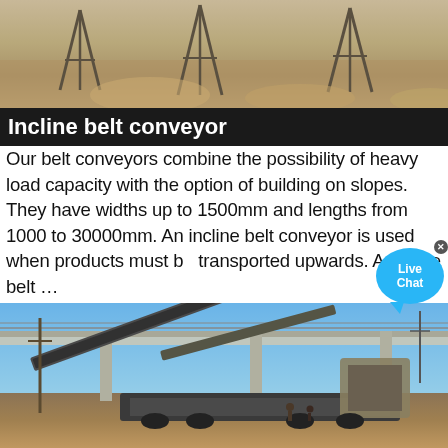[Figure (photo): Top photo showing industrial conveyor belt equipment on sandy/gravelly ground with metal frame structures visible]
Incline belt conveyor
Our belt conveyors combine the possibility of heavy load capacity with the option of building on slopes. They have widths up to 1500mm and lengths from 1000 to 30000mm. An incline belt conveyor is used when products must be transported upwards. A buckle belt …
[Figure (photo): Photo of a large incline belt conveyor system installed at a construction or mining site, with a highway overpass visible in the background and workers on the ground. Industrial machinery and mobile crushing/conveying equipment visible.]